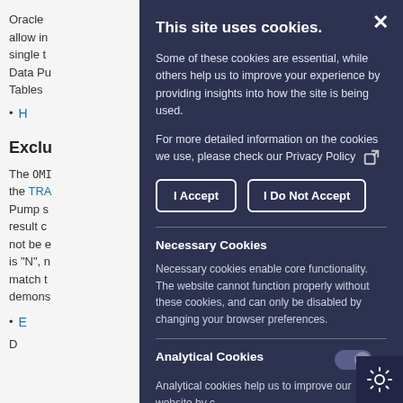Oracle allow in single t Data Pu Tables
H
Exclu
The OMI the TRA Pump s result c not be e is "N", n match t demons
E
D
This site uses cookies.
Some of these cookies are essential, while others help us to improve your experience by providing insights into how the site is being used.
For more detailed information on the cookies we use, please check our Privacy Policy
I Accept
I Do Not Accept
Necessary Cookies
Necessary cookies enable core functionality. The website cannot function properly without these cookies, and can only be disabled by changing your browser preferences.
Analytical Cookies
Analytical cookies help us to improve our website by c